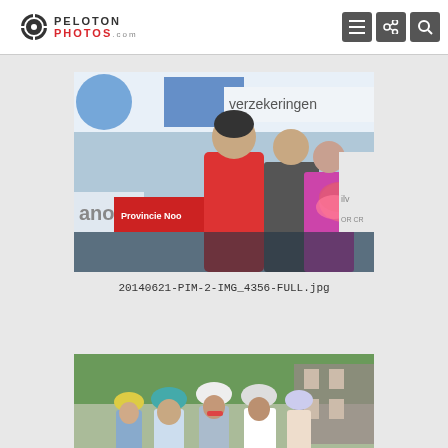PELOTON PHOTOS .com
[Figure (photo): Cyclist in red BMC jersey on podium receiving flowers, with verzekeringen banner in background, Provincie Noord sign visible]
20140621-PIM-2-IMG_4356-FULL.jpg
[Figure (photo): Group of cyclists wearing helmets at a cycling race event, with trees and buildings in background]